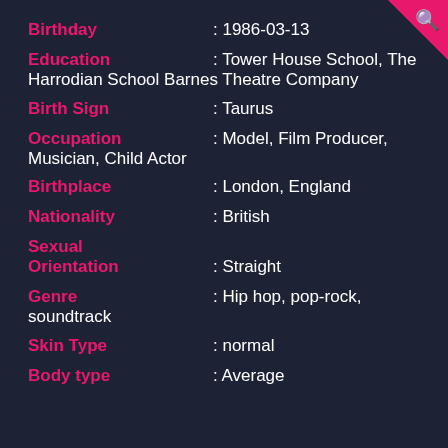Birthday : 1986-03-13
Education : Tower House School, The Harrodian School Barnes Theatre Company
Birth Sign : Taurus
Occupation : Model, Film Producer, Musician, Child Actor
Birthplace : London, England
Nationality : British
Sexual Orientation : Straight
Genre : Hip hop, pop-rock, soundtrack
Skin Type : normal
Body type : Average